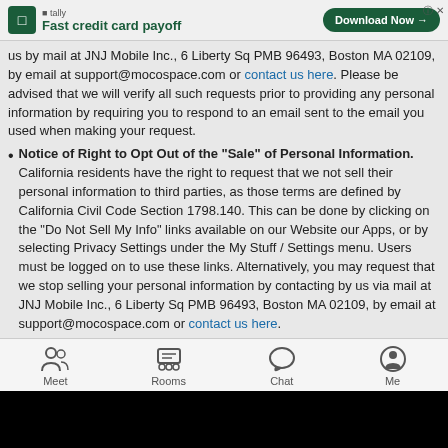[Figure (other): Tally app advertisement banner: 'Fast credit card payoff' with green Download Now button]
us by mail at JNJ Mobile Inc., 6 Liberty Sq PMB 96493, Boston MA 02109, by email at support@mocospace.com or contact us here. Please be advised that we will verify all such requests prior to providing any personal information by requiring you to respond to an email sent to the email you used when making your request.
Notice of Right to Opt Out of the "Sale" of Personal Information. California residents have the right to request that we not sell their personal information to third parties, as those terms are defined by California Civil Code Section 1798.140. This can be done by clicking on the "Do Not Sell My Info" links available on our Website our Apps, or by selecting Privacy Settings under the My Stuff / Settings menu. Users must be logged on to use these links. Alternatively, you may request that we stop selling your personal information by contacting by us via mail at JNJ Mobile Inc., 6 Liberty Sq PMB 96493, Boston MA 02109, by email at support@mocospace.com or contact us here.
Meet | Rooms | Chat | Me